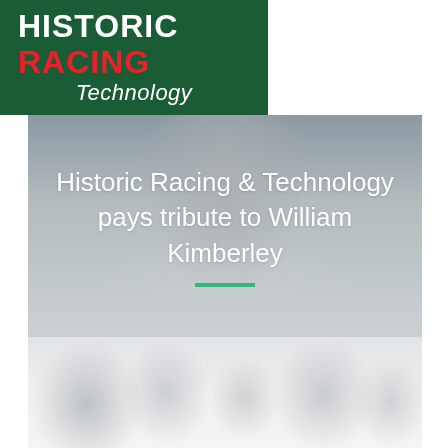[Figure (logo): Historic Racing Technology logo: white bold HISTORIC text, red bold RACING text, white italic Technology text on dark green background]
[Figure (photo): Hero image with blurred person in background (appears to be a racing driver), with overlaid white title text and a green horizontal divider bar]
Historic Racing & Technology pays tribute to William Kimberley
[Figure (photo): Faded/washed-out bottom photo showing multiple figures, heavily faded to near-white]